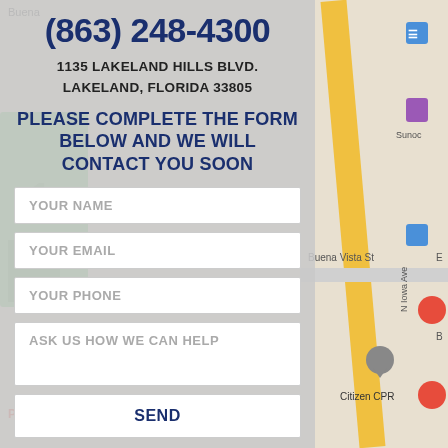[Figure (map): Google Maps background showing Lakeland, Florida area with streets including Buena Vista St and N Iowa Ave, a yellow road, green blocks, map icons for bus stops, gas station (Sunoco), and Citizen CPR marker]
(863) 248-4300
1135 LAKELAND HILLS BLVD. LAKELAND, FLORIDA 33805
PLEASE COMPLETE THE FORM BELOW AND WE WILL CONTACT YOU SOON
YOUR NAME
YOUR EMAIL
YOUR PHONE
ASK US HOW WE CAN HELP
SEND